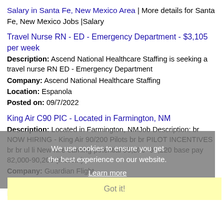Salary in Santa Fe, New Mexico Area | More details for Santa Fe, New Mexico Jobs |Salary
Travel Nurse RN - ED - Emergency Department - $3,105 per week
Description: Ascend National Healthcare Staffing is seeking a travel nurse RN ED - Emergency Department
Company: Ascend National Healthcare Staffing
Location: Espanola
Posted on: 09/7/2022
King Air C90 PIC - Located in Farmington, NM
Description: Located in Farmington, NMJob Description: br NOW HIRING - King Air 90/200 Pilots br br PILOT INCENTIVES br br ul li New hire earning potential 90,200- 99,220 base pay 82,000-90,200 (more...)
Company: Guardian Flight
Location: Espanola
Posted on: 09/7/2022
RN (Nurse) Cancer Center PT/32HRS
Description: Description br The Registered Nurse is a clinical practitioner who coordinates and